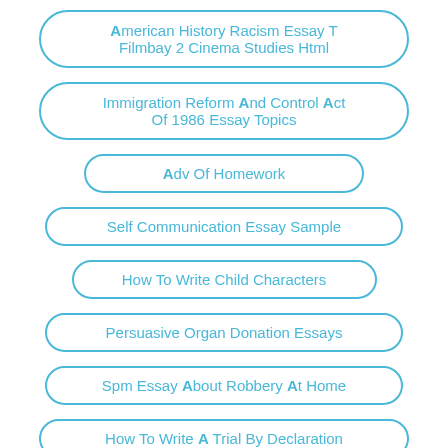American History Racism Essay T Filmbay 2 Cinema Studies Html
Immigration Reform And Control Act Of 1986 Essay Topics
Adv Of Homework
Self Communication Essay Sample
How To Write Child Characters
Persuasive Organ Donation Essays
Spm Essay About Robbery At Home
How To Write A Trial By Declaration